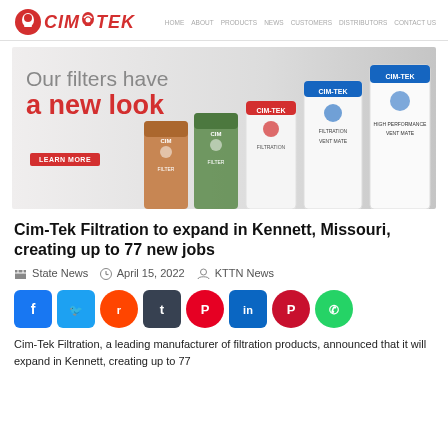CIM-TEK [logo] navigation links
[Figure (photo): CIM-TEK banner showing multiple fuel filter cylinders in various colors (orange, green, white) with text 'Our filters have a new look' and a red 'Learn More' button]
Cim-Tek Filtration to expand in Kennett, Missouri, creating up to 77 new jobs
State News   April 15, 2022   KTTN News
[Figure (infographic): Social share buttons row: Facebook (blue), Twitter (light blue), Reddit (orange-red), Tumblr (dark gray), Pinterest (red), LinkedIn (blue), Parler (red), WhatsApp (green)]
Cim-Tek Filtration, a leading manufacturer of filtration products, announced that it will expand in Kennett, creating up to 77